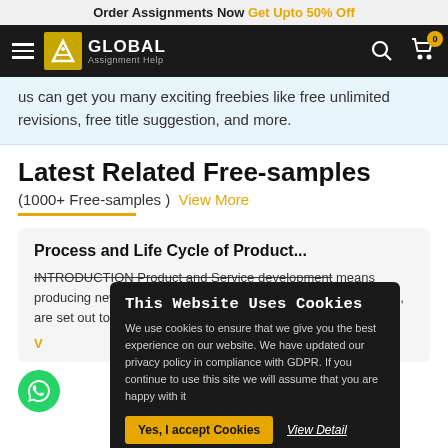Order Assignments Now Get Upto 50% Off
[Figure (logo): Global Assignment Help logo with hamburger menu, search icon, and cart icon on black navbar]
us can get you many exciting freebies like free unlimited revisions, free title suggestion, and more.
Latest Related Free-samples
(1000+ Free-samples )  View More
Process and Life Cycle of Product...
INTRODUCTION Product and Service development means producing new goods or services which offer additional features, are set out to fulfill a product or service the concept or
This Website Uses Cookies
We use cookies to ensure that we give you the best experience on our website. We have updated our privacy policy in compliance with GDPR. If you continue to use this site we will assume that you are happy with it
Yes, I accept Cookies   View Detail